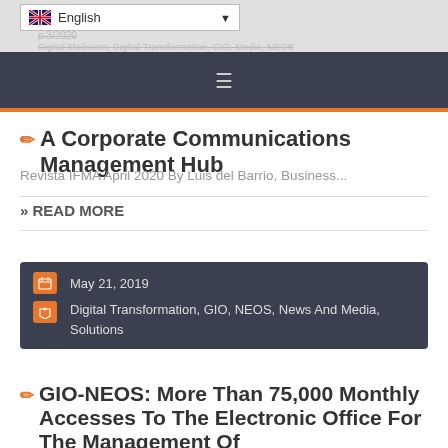[Figure (screenshot): Website navigation bar with English language selector dropdown (flag icon and arrow), a gray strip with faded breadcrumb text, and a dark navy hamburger menu bar with an orange accent line below.]
✏ A Corporate Communications Management Hub
Revista IFMA April 2020 By Luis del Barrio, Business...
» READ MORE
May 21, 2019
Digital Transformation, GIO, NEOS, News And Media, Solutions
✏ GIO-NEOS: More Than 75,000 Monthly Accesses To The Electronic Office For The Management Of...